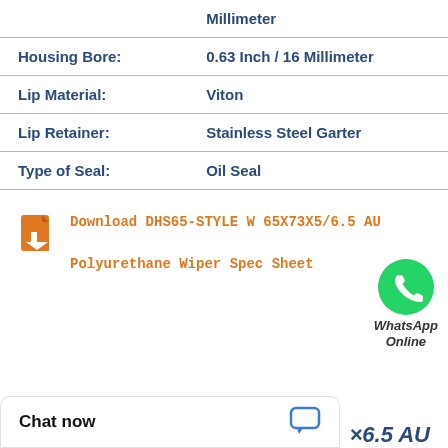| Property | Value |
| --- | --- |
|  | Millimeter |
| Housing Bore: | 0.63 Inch / 16 Millimeter |
| Lip Material: | Viton |
| Lip Retainer: | Stainless Steel Garter |
| Type of Seal: | Oil Seal |
[Figure (logo): WhatsApp green circle logo with phone handset icon, and italic text 'WhatsApp Online' below]
Download DHS65-STYLE W 65X73X5/6.5 AU Polyurethane Wiper Spec Sheet
Chat now